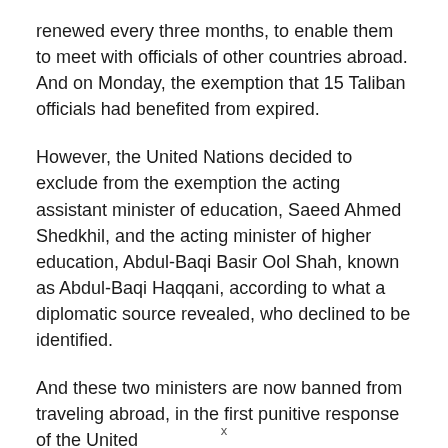renewed every three months, to enable them to meet with officials of other countries abroad. And on Monday, the exemption that 15 Taliban officials had benefited from expired.
However, the United Nations decided to exclude from the exemption the acting assistant minister of education, Saeed Ahmed Shedkhil, and the acting minister of higher education, Abdul-Baqi Basir Ool Shah, known as Abdul-Baqi Haqqani, according to what a diplomatic source revealed, who declined to be identified.
And these two ministers are now banned from traveling abroad, in the first punitive response of the United
x